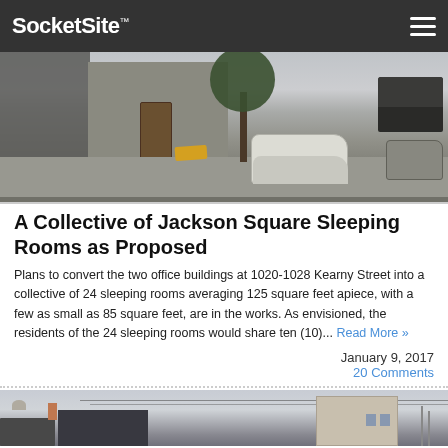SocketSite™
[Figure (photo): Street-level view of 1020-1028 Kearny Street, San Francisco, showing two-story commercial buildings, a white car parked on the right, a dark SUV further right, a tree, and a yellow curb cut.]
A Collective of Jackson Square Sleeping Rooms as Proposed
Plans to convert the two office buildings at 1020-1028 Kearny Street into a collective of 24 sleeping rooms averaging 125 square feet apiece, with a few as small as 85 square feet, are in the works. As envisioned, the residents of the 24 sleeping rooms would share ten (10)... Read More »
January 9, 2017
20 Comments
[Figure (photo): Partial view of residential rooftops in San Francisco with a modern building visible in the background.]